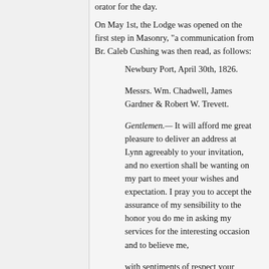orator for the day.
On May 1st, the Lodge was opened on the first step in Masonry, "a communication from Br. Caleb Cushing was then read, as follows:
Newbury Port, April 30th, 1826.
Messrs. Wm. Chadwell, James Gardner & Robert W. Trevett.
Gentlemen.— It will afford me great pleasure to deliver an address at Lynn agreeably to your invitation, and no exertion shall be wanting on my part to meet your wishes and expectation. I pray you to accept the assurance of my sensibility to the honor you do me in asking my services for the interesting occasion and to believe me,
with sentiments of respect your friend & Brother,